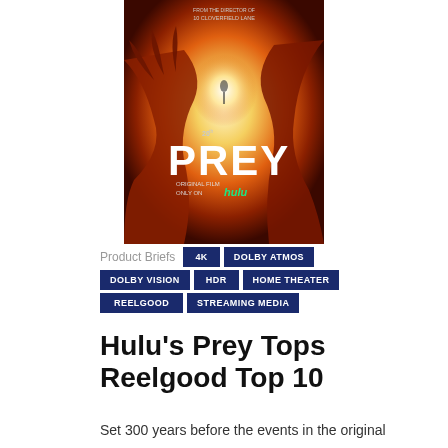[Figure (photo): Movie poster for 'Prey' (2022) – a Predator prequel film on Hulu. Orange/red fiery background with a silhouetted figure and large alien hand. Shows '20th' logo, 'PREY' title in white, and Hulu streaming logo.]
Product Briefs
4K
DOLBY ATMOS
DOLBY VISION
HDR
HOME THEATER
REELGOOD
STREAMING MEDIA
Hulu's Prey Tops Reelgood Top 10
Set 300 years before the events in the original